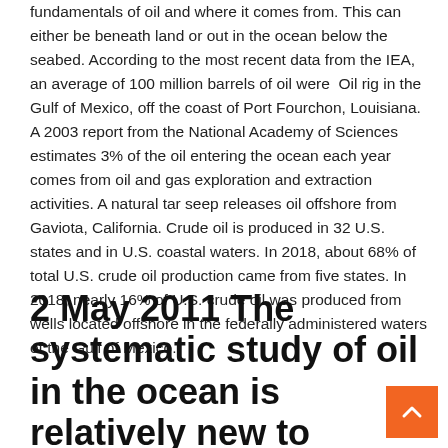fundamentals of oil and where it comes from. This can either be beneath land or out in the ocean below the seabed. According to the most recent data from the IEA, an average of 100 million barrels of oil were  Oil rig in the Gulf of Mexico, off the coast of Port Fourchon, Louisiana. A 2003 report from the National Academy of Sciences estimates 3% of the oil entering the ocean each year comes from oil and gas exploration and extraction activities. A natural tar seep releases oil offshore from Gaviota, California. Crude oil is produced in 32 U.S. states and in U.S. coastal waters. In 2018, about 68% of total U.S. crude oil production came from five states. In 2018, nearly 16% of U.S. crude oil was produced from wells located offshore in the federally administered waters of the Gulf of Mexico.
2 May 2011 The systematic study of oil in the ocean is relatively new to science but since Oil can come